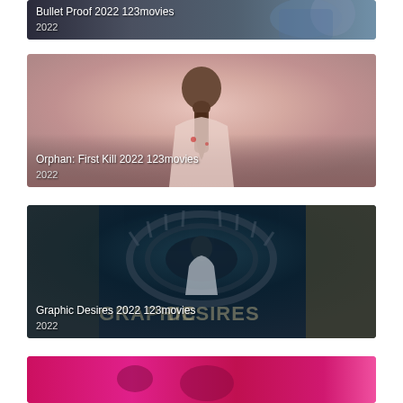[Figure (screenshot): Bullet Proof 2022 123movies movie thumbnail card with dark blue/grey background showing partial scene]
Bullet Proof 2022 123movies
2022
[Figure (screenshot): Orphan: First Kill 2022 123movies movie thumbnail with pink/rose background showing back of girl with braided hair]
Orphan: First Kill 2022 123movies
2022
[Figure (screenshot): Graphic Desires 2022 123movies movie thumbnail with dark teal/eyeball background and large text GRAPHIC DESIRES]
Graphic Desires 2022 123movies
2022
[Figure (screenshot): Partial pink/magenta movie thumbnail card at bottom of page]